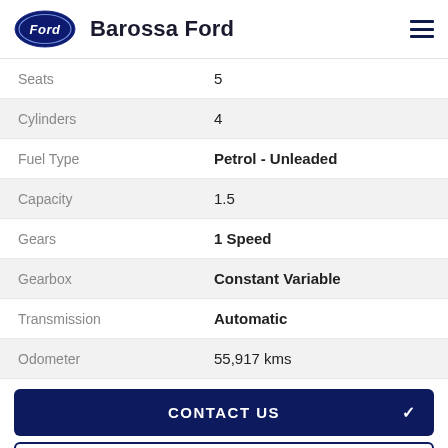Barossa Ford
| Specification | Value |
| --- | --- |
| Seats | 5 |
| Cylinders | 4 |
| Fuel Type | Petrol - Unleaded |
| Capacity | 1.5 |
| Gears | 1 Speed |
| Gearbox | Constant Variable |
| Transmission | Automatic |
| Odometer | 55,917 kms |
CONTACT US
FINANCE THIS VEHICLE